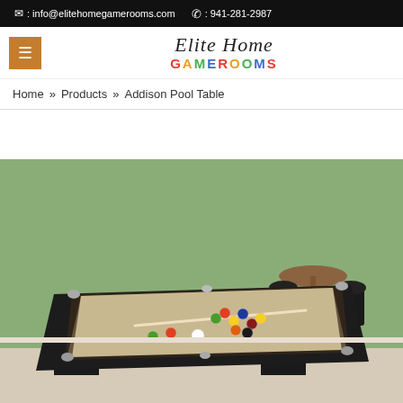✉ : info@elitehomegamerooms.com  ✆ : 941-281-2987
[Figure (logo): Elite Home Gamerooms logo with script text 'Elite Home' above colorful 'GAMEROOMS' text]
Home » Products » Addison Pool Table
[Figure (photo): Photo of an Addison pool table with tan/beige felt, set in a room with green walls and bar stools in the background]